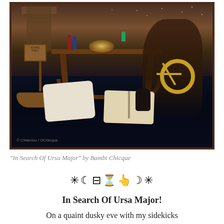[Figure (illustration): A digital art illustration titled 'In Search Of Ursa Major' by Bambi Chicque. A dusky nighttime scene showing a character with wild dark hair crouching near an antique spinning wheel or astrolabe with a gold wheel. A wooden table holds glowing items, books, and a small green alien figurine. On the ground: an open book, a dark sculpture bust, and a decorative pillow with a lion illustration. A boat and a sign are visible on the left. A misty, atmospheric background with stars.]
"In Search Of Ursa Major" by Bambi Chicque
✳︎☾⊟⏳👆☽✳︎
In Search Of Ursa Major!
On a quaint dusky eve with my sidekicks
we decided to do a little discovery together